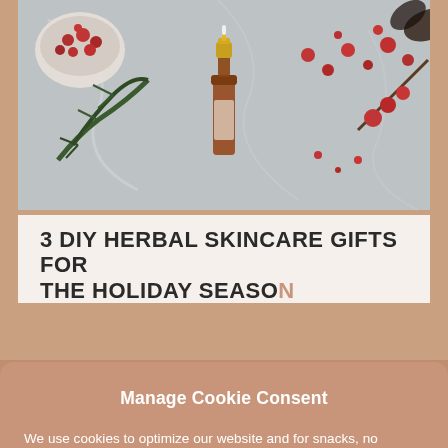[Figure (photo): A flatlay photo of a small amber dropper bottle with a gold cap, surrounded by pine branches, red berries in a bowl, rosehips, and scattered botanicals on a light grey marble surface.]
3 DIY HERBAL SKINCARE GIFTS FOR THE HOLIDAY SEASON
Manage Cookie Consent
We use cookies to optimize our website and for snacks, no personal data is collected.
Accept
Deny
Preferences